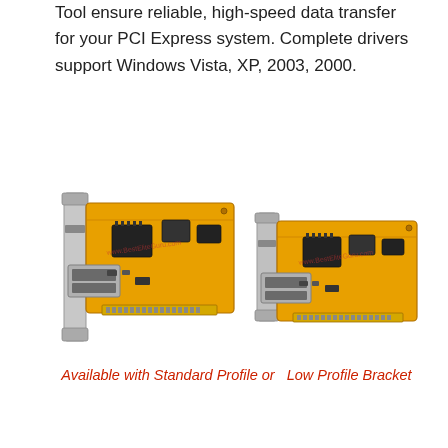Tool ensure reliable, high-speed data transfer for your PCI Express system. Complete drivers support Windows Vista, XP, 2003, 2000.
[Figure (photo): Two PCIe parallel port expansion cards shown side by side — one with standard profile bracket (left) and one with low profile bracket (right). Both are orange PCBs with chips and a DB-25 parallel port connector. Watermark text 'www.BestEliteGuru.com' visible on each card.]
Available with Standard Profile or  Low Profile Bracket